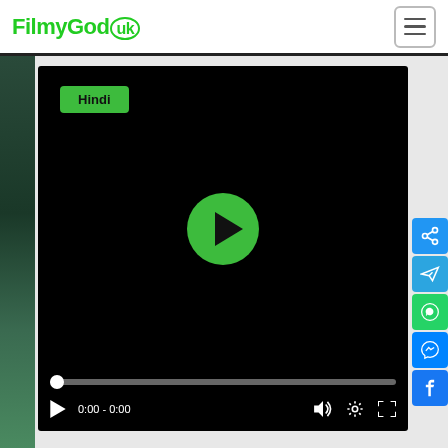[Figure (logo): FilmyGod.uk logo in green text with UK in a circle]
[Figure (screenshot): Video player with black screen, green Hindi button overlay, green play button in center, progress bar and controls at bottom]
[Figure (infographic): Social share buttons on right side: share link (blue), Telegram (light blue), WhatsApp (green), Messenger (blue), Facebook (blue)]